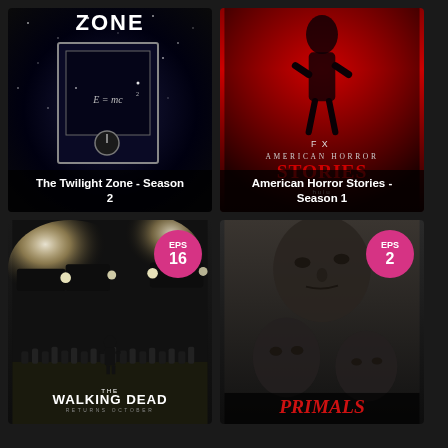[Figure (illustration): TV show poster for The Twilight Zone - Season 2, dark space background with a vault/door showing E=mc² equation]
The Twilight Zone - Season 2
[Figure (illustration): TV show poster for American Horror Stories - Season 1, red background with dark figure, FX branding]
American Horror Stories - Season 1
[Figure (illustration): TV show poster for The Walking Dead, dark scene with crowd of people and lone figure, EPS 16 badge]
[Figure (illustration): TV show poster for a horror series (Primals), dark moody image with faces, EPS 2 badge]